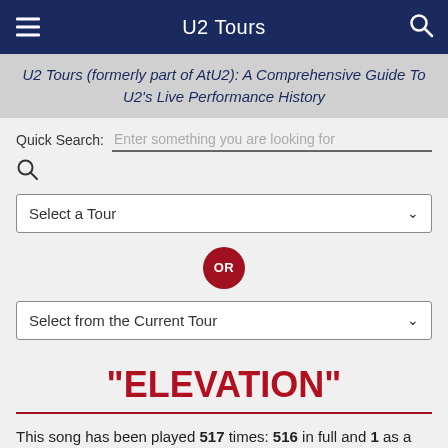U2 Tours
U2 Tours (formerly part of AtU2): A Comprehensive Guide To U2's Live Performance History
Quick Search: Enter something you are looking for
Select a Tour
OR
Select from the Current Tour
"ELEVATION"
This song has been played 517 times: 516 in full and 1 as a snippet. It's been played 449 times in the main set and 68 times in an encore set.